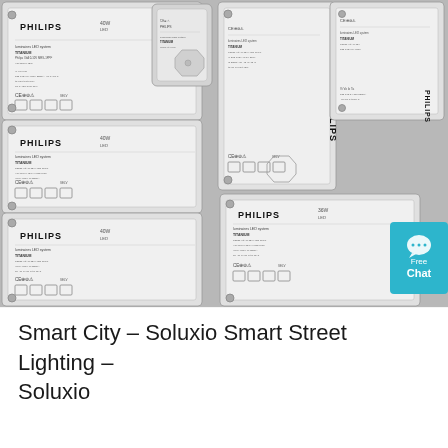[Figure (photo): Photograph of multiple Philips LED driver units (Titanium series) arranged together, showing their white/grey rectangular bodies with certification marks (CE, RCM, etc.), technical specifications labels, and the Philips brand name. A teal 'Free Chat' button overlay is visible on the right side.]
Smart City – Soluxio Smart Street Lighting – Soluxio